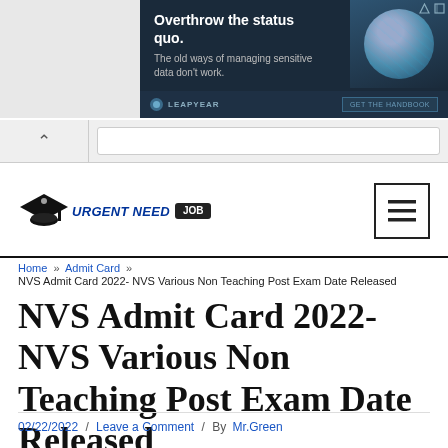[Figure (screenshot): Advertisement banner for Leapyear: 'Overthrow the status quo. The old ways of managing sensitive data don't work.' with a face image and GET THE HANDBOOK button]
[Figure (screenshot): Browser navigation bar with back arrow and URL bar]
[Figure (logo): Urgent Need Job logo with graduation cap icon and JOB badge, with hamburger menu icon on right]
Home » Admit Card » NVS Admit Card 2022- NVS Various Non Teaching Post Exam Date Released
NVS Admit Card 2022- NVS Various Non Teaching Post Exam Date Released
02/22/2022 / Leave a Comment / By Mr.Green